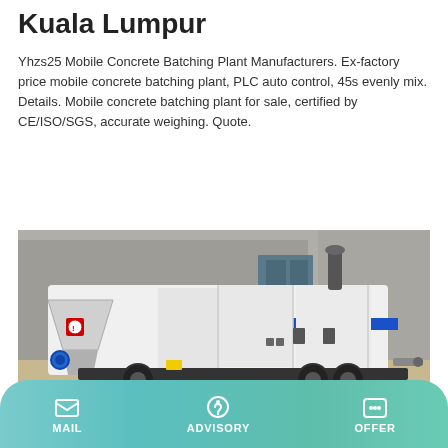Kuala Lumpur
Yhzs25 Mobile Concrete Batching Plant Manufacturers. Ex-factory price mobile concrete batching plant, PLC auto control, 45s evenly mix. Details. Mobile concrete batching plant for sale, certified by CE/ISO/SGS, accurate weighing. Quote.
Learn More
[Figure (photo): A white and blue mobile concrete batching plant / pump truck parked in front of a building. The machine has a hopper on the left side, a large cylindrical tank body with blue stripe accents, exhaust pipe on top, and is mounted on a wheeled chassis.]
MAIL   ADVISORY   OFFER